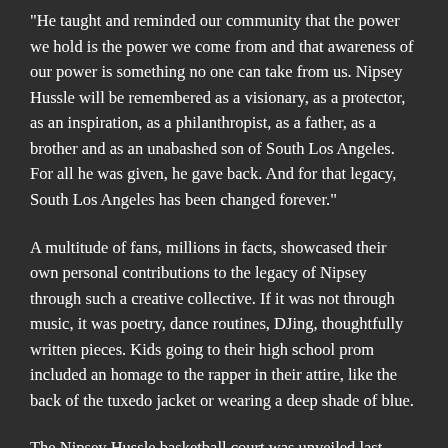"He taught and reminded our community that the power we hold is the power we come from and that awareness of our power is something no one can take from us. Nipsey Hussle will be remembered as a visionary, as a protector, as an inspiration, as a philanthropist, as a father, as a brother and as an unabashed son of South Los Angeles. For all he was given, he gave back. And for that legacy, South Los Angeles has been changed forever."
A multitude of fans, millions in facts, showcased their own personal contributions to the legacy of Nipsey through such a creative collective. If it was not through music, it was poetry, dance routines, DJing, thoughtfully written pieces. Kids going to their high school prom included an homage to the rapper in their attire, like the back of the tuxedo jacket or wearing a deep shade of blue.
The Nipsey Hussle basketball court was unveiled last